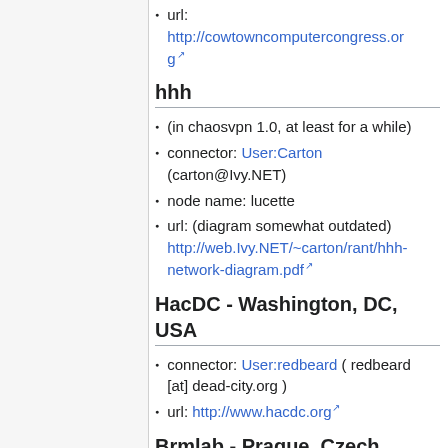url: http://cowtowncomputercongress.org
hhh
(in chaosvpn 1.0, at least for a while)
connector: User:Carton (carton@Ivy.NET)
node name: lucette
url: (diagram somewhat outdated) http://web.Ivy.NET/~carton/rant/hhh-network-diagram.pdf
HacDC - Washington, DC, USA
connector: User:redbeard ( redbeard [at] dead-city.org )
url: http://www.hacdc.org
Brmlab - Prague, Czech republic